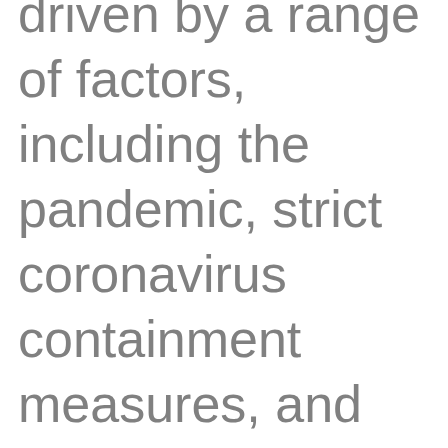driven by a range of factors, including the pandemic, strict coronavirus containment measures, and the overlapping